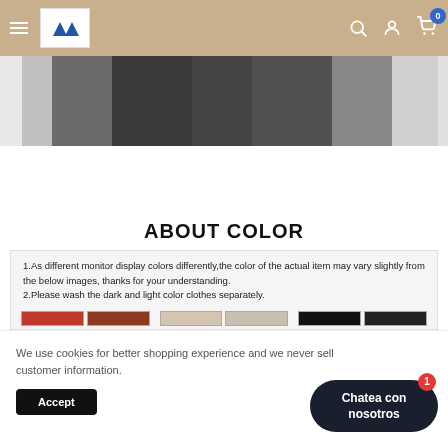Navigation bar with hamburger menu, logo, search, account, and cart (0)
[Figure (photo): Product photo showing dark clothing/pants on a gray background]
ABOUT COLOR
1.As different monitor display colors differently,the color of the actual item may vary slightly from the below images, thanks for your understanding.
2.Please wash the dark and light color clothes separately.
We use cookies for better shopping experience and we never sell customer information.
Accept
Chatea con nosotros
Product Details